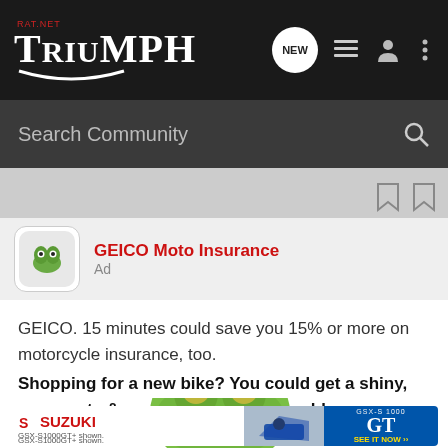TRiUMPH RAT.NET
Search Community
GEICO Moto Insurance
Ad
GEICO. 15 minutes could save you 15% or more on motorcycle insurance, too.
Shopping for a new bike? You could get a shiny, new quote & see how much you could save.
[Figure (photo): GEICO gecko close-up and Suzuki GSX-S1000GT advertisement banner]
GSX-S1000GT+ shown.